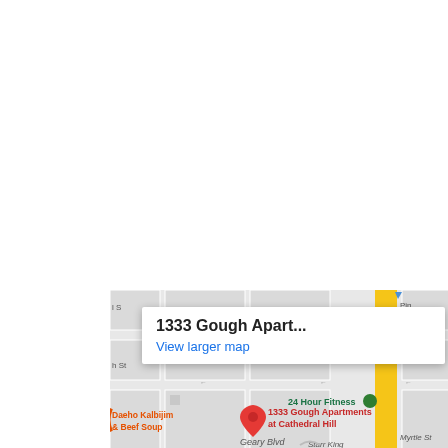[Figure (map): Google Maps screenshot showing street map of San Francisco neighborhood with labeled location 1333 Gough Apartments at Cathedral Hill (red pin) and 1520 Gough Apartments (gray pin), streets including Austin St, Geary Blvd, Starr King, Myrtle St, businesses Daeho Kalbijim & Beef Soup and 24 Hour Fitness, with a yellow vertical street (Van Ness Ave) on the right side.]
1333 Gough Apart...
View larger map